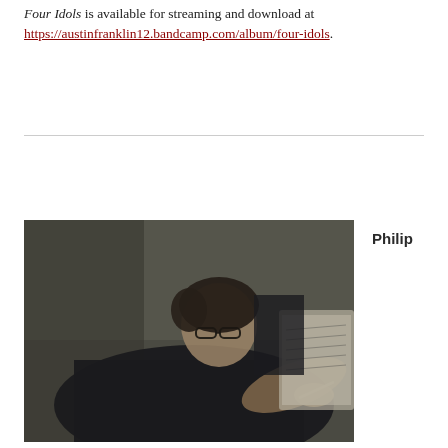Four Idols is available for streaming and download at https://austinfranklin12.bandcamp.com/album/four-idols.
[Figure (photo): A man wearing glasses and a dark navy shirt, leaning forward and writing or marking on sheet music on a music stand. Black and white/dark toned photograph.]
Philip